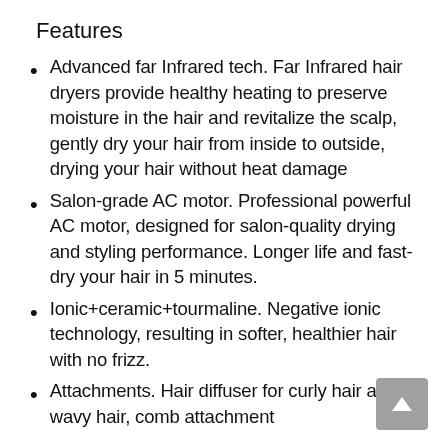Features
Advanced far Infrared tech. Far Infrared hair dryers provide healthy heating to preserve moisture in the hair and revitalize the scalp, gently dry your hair from inside to outside, drying your hair without heat damage
Salon-grade AC motor. Professional powerful AC motor, designed for salon-quality drying and styling performance. Longer life and fast-dry your hair in 5 minutes.
Ionic+ceramic+tourmaline. Negative ionic technology, resulting in softer, healthier hair with no frizz.
Attachments. Hair diffuser for curly hair and wavy hair, comb attachment